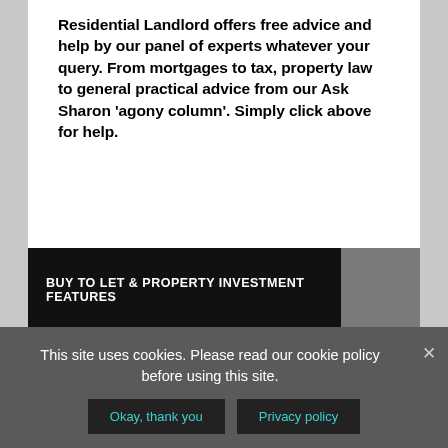Residential Landlord offers free advice and help by our panel of experts whatever your query. From mortgages to tax, property law to general practical advice from our Ask Sharon 'agony column'. Simply click above for help.
BUY TO LET & PROPERTY INVESTMENT FEATURES
[Figure (other): Gray placeholder content area below the banner]
This site uses cookies. Please read our cookie policy before using this site.
Okay, thank you | Privacy policy